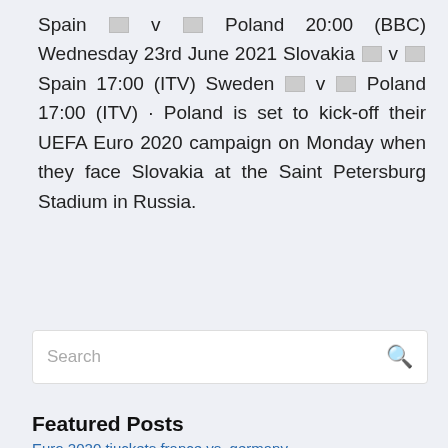Spain 🏳 v 🏳 Poland 20:00 (BBC) Wednesday 23rd June 2021 Slovakia 🏳 v 🏳 Spain 17:00 (ITV) Sweden 🏳 v 🏳 Poland 17:00 (ITV) · Poland is set to kick-off their UEFA Euro 2020 campaign on Monday when they face Slovakia at the Saint Petersburg Stadium in Russia.
Search
Featured Posts
Euro 2020 tiuckets france vs. germany